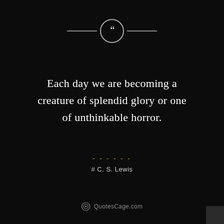[Figure (illustration): Decorative quote icon: two horizontal lines flanking a circle containing white quotation marks]
Each day we are becoming a creature of splendid glory or one of unthinkable horror.
# C. S. Lewis
[Figure (logo): QuotesCage.com watermark logo with target/circle icon]